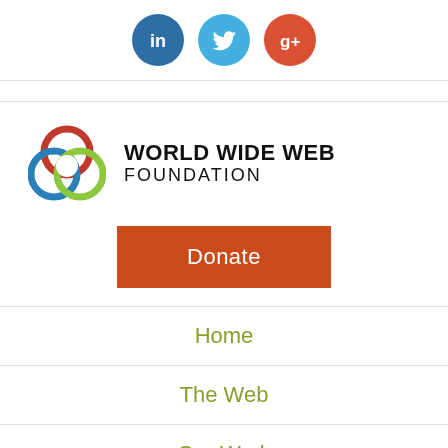[Figure (logo): Social media icons: LinkedIn (blue circle), Twitter (light blue circle), Google+ (red circle)]
[Figure (logo): World Wide Web Foundation logo with interlocked circles in red, blue, and green, next to the text WORLD WIDE WEB FOUNDATION]
[Figure (other): Orange-red Donate button]
Home
The Web
Our Work
About Us